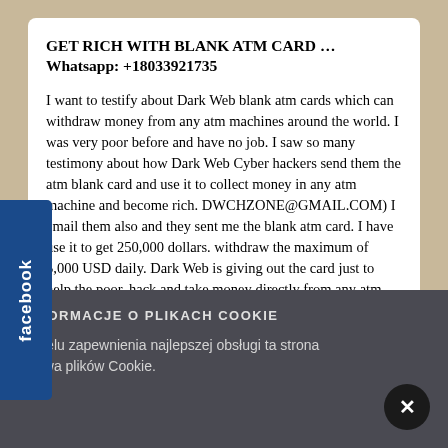GET RICH WITH BLANK ATM CARD … Whatsapp: +18033921735
I want to testify about Dark Web blank atm cards which can withdraw money from any atm machines around the world. I was very poor before and have no job. I saw so many testimony about how Dark Web Cyber hackers send them the atm blank card and use it to collect money in any atm machine and become rich. DWCHZONE@GMAIL.COM) I email them also and they sent me the blank atm card. I have use it to get 250,000 dollars. withdraw the maximum of 5,000 USD daily. Dark Web is giving out the card just to help the poor. hack and take money directly from any atm machine vault with the use of atm programmed card which runs in automatic mode.
You can also contact them for the service below
INFORMACJE O PLIKACH COOKIE
W celu zapewnienia najlepszej obsługi ta strona używa plików Cookie.